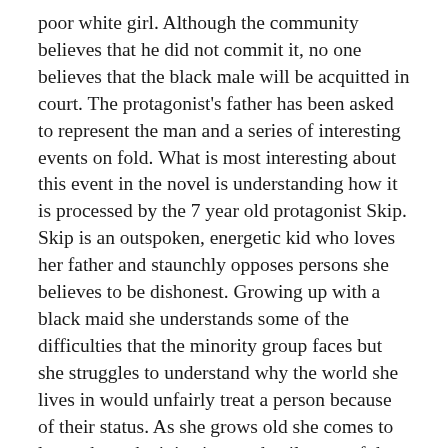poor white girl. Although the community believes that he did not commit it, no one believes that the black male will be acquitted in court. The protagonist's father has been asked to represent the man and a series of interesting events on fold. What is most interesting about this event in the novel is understanding how it is processed by the 7 year old protagonist Skip. Skip is an outspoken, energetic kid who loves her father and staunchly opposes persons she believes to be dishonest. Growing up with a black maid she understands some of the difficulties that the minority group faces but she struggles to understand why the world she lives in would unfairly treat a person because of their status. As she grows old she comes to learn about the injustices and evil ways of the world and tries unsuccessfully to reconcile this with their own beliefs. When her father loses the case it leaves a deep mark on Skip and she is never quite the same again.  The novel does a fair job of depicting the struggles of the black minority during the time of segregation. However rather than picking sides in the